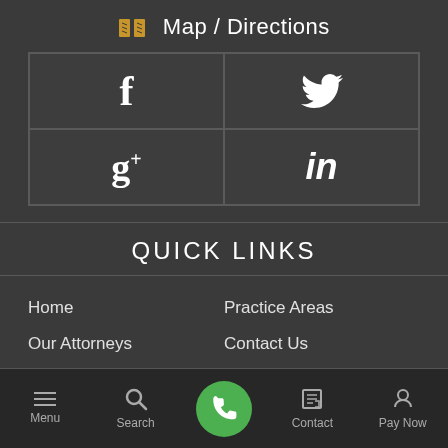Map / Directions
[Figure (infographic): Social media icon grid with Facebook, Twitter, Google+, and LinkedIn icons in bordered cells]
QUICK LINKS
Home
Practice Areas
Our Attorneys
Contact Us
Menu | Search | [Phone] | Contact | Pay Now